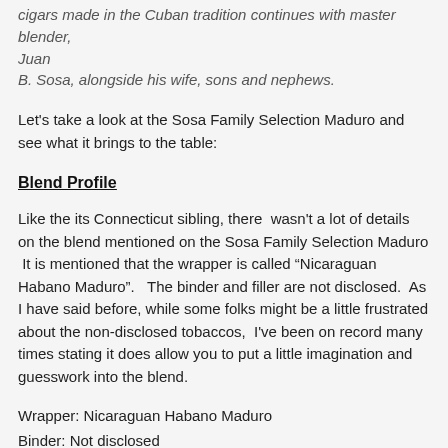cigars made in the Cuban tradition continues with master blender, Juan B. Sosa, alongside his wife, sons and nephews.
Let's take a look at the Sosa Family Selection Maduro and see what it brings to the table:
Blend Profile
Like the its Connecticut sibling, there wasn't a lot of details on the blend mentioned on the Sosa Family Selection Maduro  It is mentioned that the wrapper is called "Nicaraguan Habano Maduro".   The binder and filler are not disclosed.  As I have said before, while some folks might be a little frustrated about the non-disclosed tobaccos,  I've been on record many times stating it does allow you to put a little imagination and guesswork into the blend.
Wrapper: Nicaraguan Habano Maduro
Binder: Not disclosed
Filler: Not disclosed
Vitolas Available